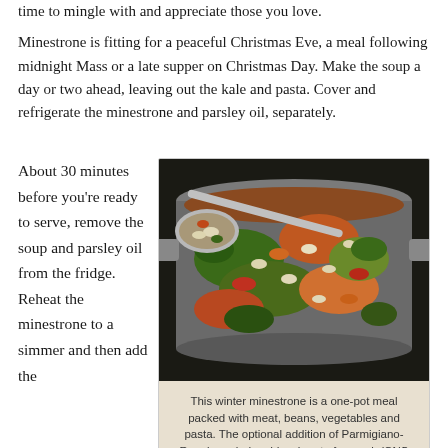time to mingle with and appreciate those you love.
Minestrone is fitting for a peaceful Christmas Eve, a meal following midnight Mass or a late supper on Christmas Day. Make the soup a day or two ahead, leaving out the kale and pasta. Cover and refrigerate the minestrone and parsley oil, separately.
About 30 minutes before you're ready to serve, remove the soup and parsley oil from the fridge. Reheat the minestrone to a simmer and then add the
[Figure (photo): A large silver pot on a stove filled with winter minestrone soup showing kale, beans, carrots, tomatoes and pasta, with a ladle scooping up a portion.]
This winter minestrone is a one-pot meal packed with meat, beans, vegetables and pasta. The optional addition of Parmigiano-Reggiano rinds adds a burst of umami. (CNS photo/Nancy Wiechec)